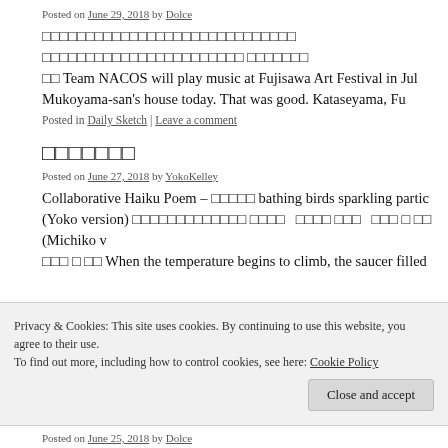Posted on June 29, 2018 by Dolce
□□□□□□□□□□□□□□□□□□□□□□□□□□□□□ □□□□□□□□□□□□□□□□□□□□□□□ □□□□□□□ □□ Team NACOS will play music at Fujisawa Art Festival in Jul Mukoyama-san's house today. That was good. Kataseyama, Fu
Posted in Daily Sketch | Leave a comment
□□□□□□□
Posted on June 27, 2018 by YokoKelley
Collaborative Haiku Poem – □□□□□ bathing birds sparkling partic (Yoko version) □□□□□□□□□□□□□ □□□□ □□□□ □□□ □□□ □ □□ (Michiko v □□□ □ □□ When the temperature begins to climb, the saucer filled
Privacy & Cookies: This site uses cookies. By continuing to use this website, you agree to their use.
To find out more, including how to control cookies, see here: Cookie Policy
Close and accept
Posted on June 25, 2018 by Dolce